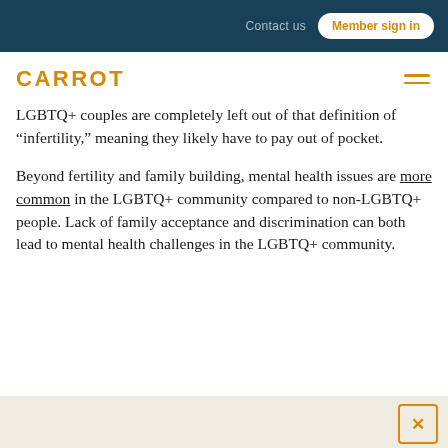Contact us   Member sign in
CARROT
LGBTQ+ couples are completely left out of that definition of “infertility,” meaning they likely have to pay out of pocket.
Beyond fertility and family building, mental health issues are more common in the LGBTQ+ community compared to non-LGBTQ+ people. Lack of family acceptance and discrimination can both lead to mental health challenges in the LGBTQ+ community.